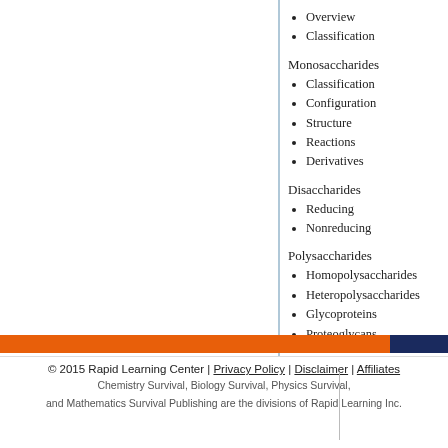Overview
Classification
Monosaccharides
Classification
Configuration
Structure
Reactions
Derivatives
Disaccharides
Reducing
Nonreducing
Polysaccharides
Homopolysaccharides
Heteropolysaccharides
Glycoproteins
Proteoglycans
See all 24 lessons in college chemistry, including Teach Yourself Organic Chemistry Vi
© 2015 Rapid Learning Center | Privacy Policy | Disclaimer | Affiliates
Chemistry Survival, Biology Survival, Physics Survival,
and Mathematics Survival Publishing are the divisions of Rapid Learning Inc.